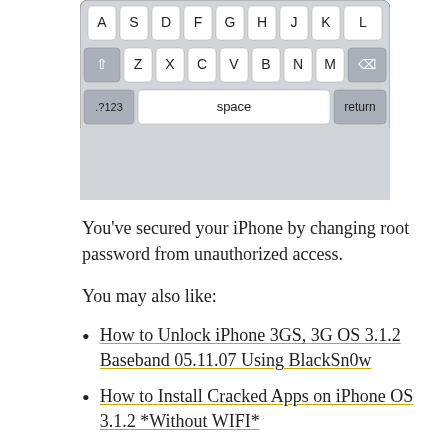[Figure (screenshot): iPhone virtual keyboard showing bottom rows: ZXCVBNM row with shift and backspace, and bottom row with .?123, space, and return keys]
You’ve secured your iPhone by changing root password from unauthorized access.
You may also like:
How to Unlock iPhone 3GS, 3G OS 3.1.2 Baseband 05.11.07 Using BlackSn0w
How to Install Cracked Apps on iPhone OS 3.1.2 *Without WIFI*
How to Enable Tethering on iPhone OS 3.1.2
How to Enable MMS on iPhone 2G OS 3.1.2
Don’t forget to Follow us on Twitter or Subscribe via RSS to receive latest iPhone related Guides